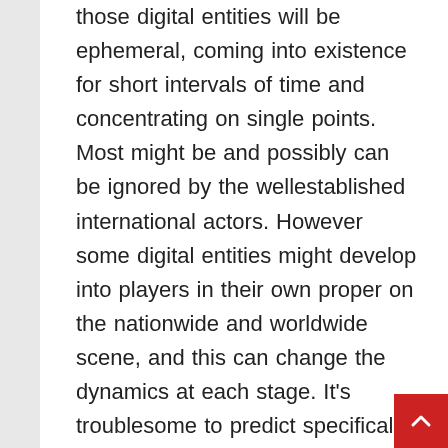those digital entities will be ephemeral, coming into existence for short intervals of time and concentrating on single points. Most might be and possibly can be ignored by the wellestablished international actors. However some digital entities might develop into players in their own proper on the nationwide and worldwide scene, and this can change the dynamics at each stage. It's troublesome to predict specifically what impact virtual entities might need at any degree of study. Their impacts are prone to differ tremendously relying on the amount of resources available, the popularity of a given cause, and the dedication of these associated with the entity. There's little doubt, nonetheless, that such entities will com...